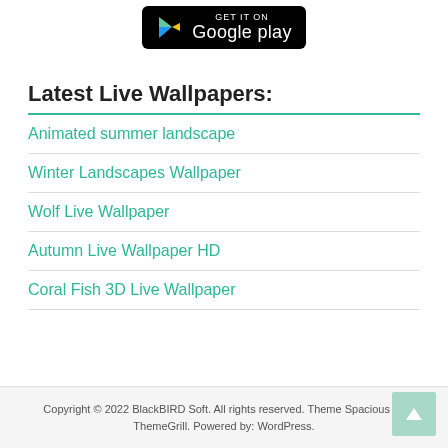[Figure (logo): Google Play store badge — black rounded rectangle with Play Store triangle logo and 'Google play' text in white]
Latest Live Wallpapers:
Animated summer landscape
Winter Landscapes Wallpaper
Wolf Live Wallpaper
Autumn Live Wallpaper HD
Coral Fish 3D Live Wallpaper
Copyright © 2022 BlackBIRD Soft. All rights reserved. Theme Spacious by ThemeGrill. Powered by: WordPress.